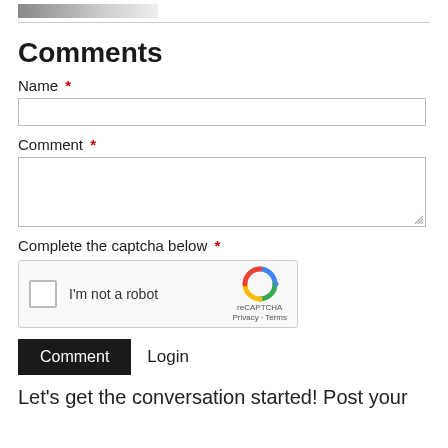[Figure (photo): Partial image strip at top left showing thumbnail images]
Comments
Name *
Comment *
Complete the captcha below *
[Figure (other): reCAPTCHA widget with checkbox labeled I'm not a robot]
Comment   Login
Let's get the conversation started! Post your